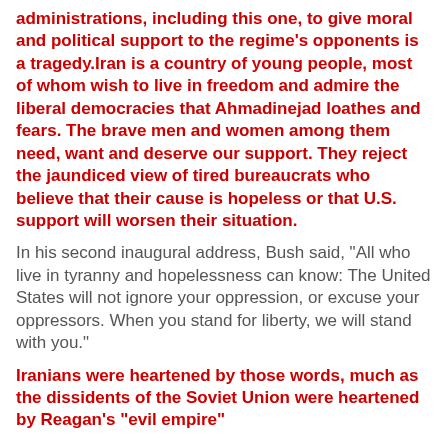administrations, including this one, to give moral and political support to the regime's opponents is a tragedy.Iran is a country of young people, most of whom wish to live in freedom and admire the liberal democracies that Ahmadinejad loathes and fears. The brave men and women among them need, want and deserve our support. They reject the jaundiced view of tired bureaucrats who believe that their cause is hopeless or that U.S. support will worsen their situation.
In his second inaugural address, Bush said, "All who live in tyranny and hopelessness can know: The United States will not ignore your oppression, or excuse your oppressors. When you stand for liberty, we will stand with you."
Iranians were heartened by those words, much as the dissidents of the Soviet Union were heartened by Reagan's "evil empire"